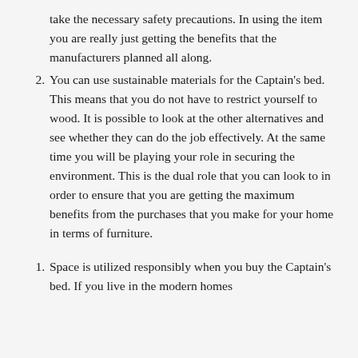take the necessary safety precautions. In using the item you are really just getting the benefits that the manufacturers planned all along.
2. You can use sustainable materials for the Captain's bed. This means that you do not have to restrict yourself to wood. It is possible to look at the other alternatives and see whether they can do the job effectively. At the same time you will be playing your role in securing the environment. This is the dual role that you can look to in order to ensure that you are getting the maximum benefits from the purchases that you make for your home in terms of furniture.
1. Space is utilized responsibly when you buy the Captain's bed. If you live in the modern homes